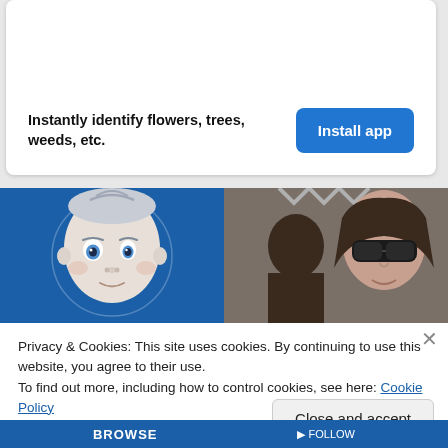Instantly identify flowers, trees, weeds, etc.
[Figure (screenshot): Install app button - blue rounded rectangle with white text 'Install app']
[Figure (illustration): Illustrated baby face on blue background (Gerber-style baby logo)]
[Figure (photo): Photo of woman with sunglasses and a child]
Privacy & Cookies: This site uses cookies. By continuing to use this website, you agree to their use.
To find out more, including how to control cookies, see here: Cookie Policy
Close and accept